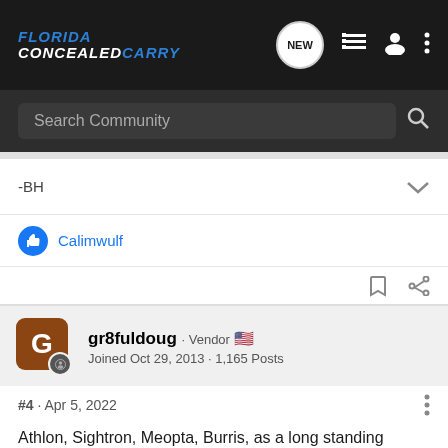FLORIDA CONCEALEDCARRY
Search Community
-BH
Calimwulf
gr8fuldoug · Vendor
Joined Oct 29, 2013 · 1,165 Posts
#4 · Apr 5, 2022
Athlon, Sightron, Meopta, Burris, as a long standing supporting vendor here on the forum it is our pleasure to assist in discussi... Please give a c... ts